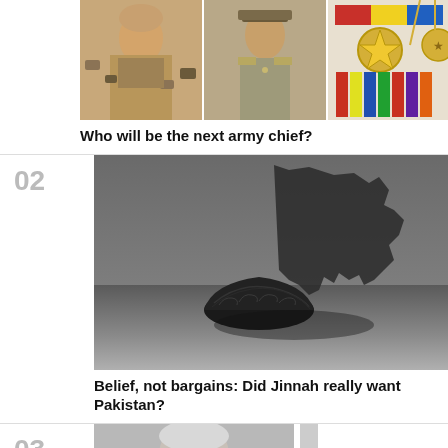[Figure (photo): Photo strip of military officers and medals/ribbons]
Who will be the next army chief?
[Figure (photo): Black and white photo of a traditional karakul hat casting a shadow in the shape of Pakistan's map]
Belief, not bargains: Did Jinnah really want Pakistan?
[Figure (photo): Black and white portrait photo of an older man with glasses]
03